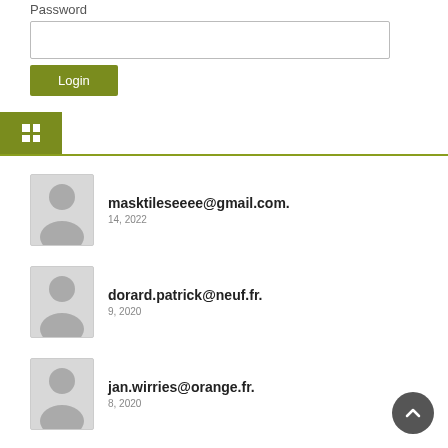Password
[Figure (screenshot): Password input field (empty text box)]
Login
[Figure (screenshot): Grid/dashboard tab icon (active green tab with grid icon and horizontal rule)]
masktileseeee@gmail.com. 14, 2022
dorard.patrick@neuf.fr. 9, 2020
jan.wirries@orange.fr. 8, 2020
ibrahim.gabo@yahoo.fr. 8, 2020